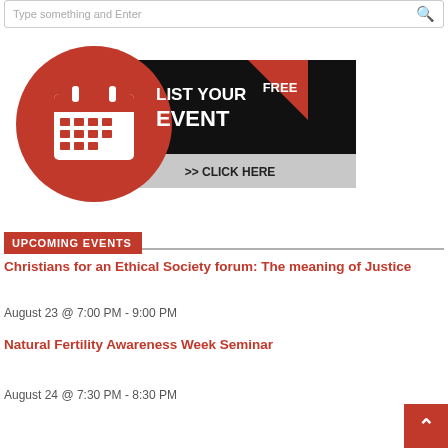Type something and Enter
[Figure (illustration): Red circle with white calendar icon and black banner reading LIST YOUR EVENT FREE >> CLICK HERE]
UPCOMING EVENTS
Christians for an Ethical Society forum: The meaning of Justice
August 23 @ 7:00 PM - 9:00 PM
Natural Fertility Awareness Week Seminar
August 24 @ 7:30 PM - 8:30 PM